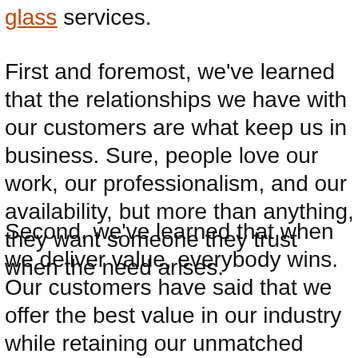glass services.
First and foremost, we've learned that the relationships we have with our customers are what keep us in business. Sure, people love our work, our professionalism, and our availability, but more than anything, they want someone they trust when the need arises.
Second, we've learned that when we deliver value, everybody wins. Our customers have said that we offer the best value in our industry while retaining our unmatched service and availability. Many of our customers have called us the best glass company in the Atlanta area